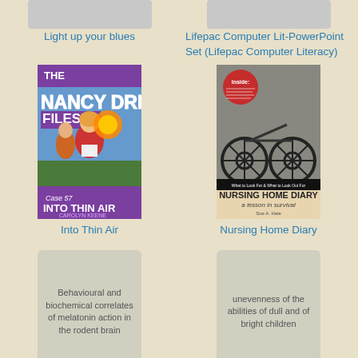[Figure (illustration): Partial book cover at top left, gray placeholder image]
Light up your blues
[Figure (illustration): Partial book cover at top right, gray placeholder image]
Lifepac Computer Lit-PowerPoint Set (Lifepac Computer Literacy)
[Figure (illustration): Nancy Drew Files Case 57 Into Thin Air book cover by Carolyn Keene]
Into Thin Air
[Figure (illustration): Nursing Home Diary a lesson in survival book cover by Sue A. Hale, showing a wheelchair]
Nursing Home Diary
[Figure (illustration): Placeholder card with text: Behavioural and biochemical correlates of melatonin action in the rodent brain]
[Figure (illustration): Placeholder card with text: unevenness of the abilities of dull and of bright children]